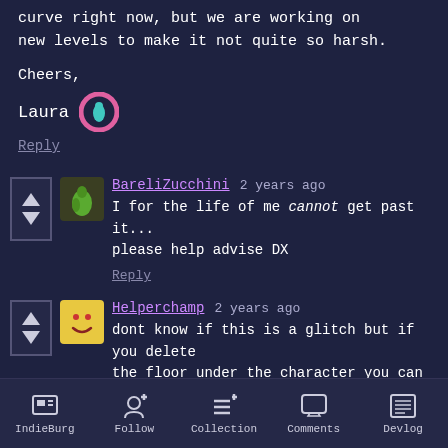curve right now, but we are working on new levels to make it not quite so harsh.
Cheers,
Laura
Reply
BareliZucchini  2 years ago
I for the life of me cannot get past it... please help advise DX
Reply
Helperchamp  2 years ago
dont know if this is a glitch but if you delete the floor under the character you can still
IndieBurg  Follow  Collection  Comments  Devlog